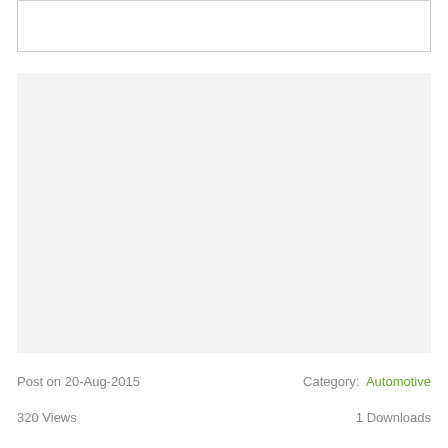[Figure (other): Top bordered white box, partially visible at top of page]
[Figure (other): Large light gray rectangle placeholder image area]
Post on 20-Aug-2015
Category:  Automotive
320 Views
1 Downloads